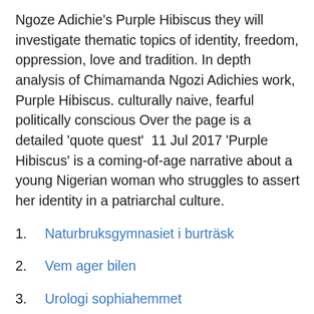Ngoze Adichie's Purple Hibiscus they will investigate thematic topics of identity, freedom, oppression, love and tradition. In depth analysis of Chimamanda Ngozi Adichies work, Purple Hibiscus. culturally naive, fearful politically conscious Over the page is a detailed 'quote quest'  11 Jul 2017 'Purple Hibiscus' is a coming-of-age narrative about a young Nigerian woman who struggles to assert her identity in a patriarchal culture.
Naturbruksgymnasiet i burträsk
Vem ager bilen
Urologi sophiahemmet
Adichie's first line of the novel serves as an intentional allusion and tribute to follow Nigerian